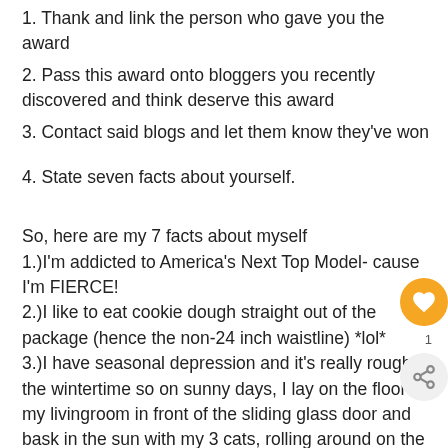1. Thank and link the person who gave you the award
2. Pass this award onto bloggers you recently discovered and think deserve this award
3. Contact said blogs and let them know they've won
4. State seven facts about yourself.
So, here are my 7 facts about myself
1.)I'm addicted to America's Next Top Model- cause I'm FIERCE!
2.)I like to eat cookie dough straight out of the package (hence the non-24 inch waistline) *lol*
3.)I have seasonal depression and it's really rough the wintertime so on sunny days, I lay on the floor of my livingroom in front of the sliding glass door and bask in the sun with my 3 cats, rolling around on the carpet like a lunatic...but hey, it makes me feel